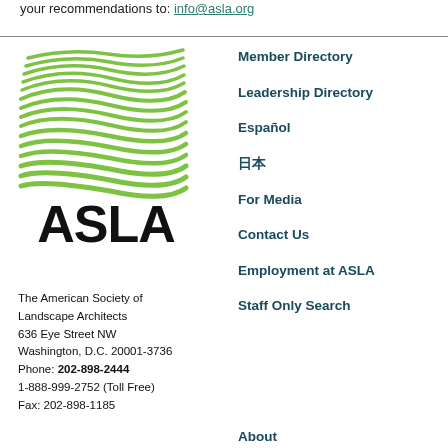your recommendations to: info@asla.org
[Figure (logo): ASLA logo with green wave/landscape graphic and ASLA text below]
The American Society of Landscape Architects
636 Eye Street NW
Washington, D.C. 20001-3736

Phone: 202-898-2444
1-888-999-2752 (Toll Free)
Fax: 202-898-1185
Member Directory
Leadership Directory
Español
日本語
For Media
Contact Us
Employment at ASLA
Staff Only Search
About